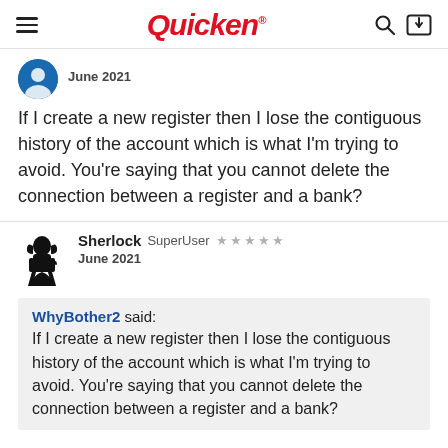Quicken
June 2021
If I create a new register then I lose the contiguous history of the account which is what I'm trying to avoid. You're saying that you cannot delete the connection between a register and a bank?
Sherlock SuperUser ★★★★★
June 2021
WhyBother2 said:
If I create a new register then I lose the contiguous history of the account which is what I'm trying to avoid. You're saying that you cannot delete the connection between a register and a bank?